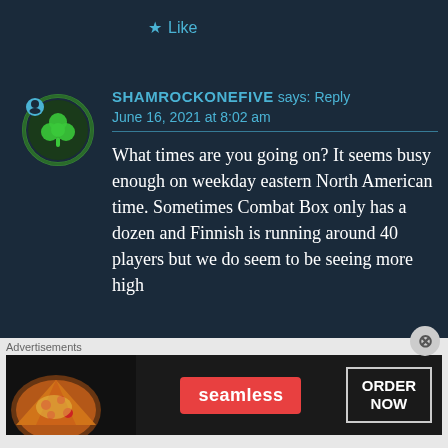★ Like
SHAMROCKONEFIVE says: Reply
June 16, 2021 at 8:02 am
What times are you going on? It seems busy enough on weekday eastern North American time. Sometimes Combat Box only has a dozen and Finnish is running around 40 players but we do seem to be seeing more high
[Figure (screenshot): Seamless food delivery advertisement banner with pizza image, Seamless red logo, and ORDER NOW button]
Advertisements